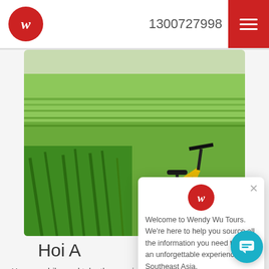1300727998
[Figure (photo): A yellow bicycle with fat tires parked against lush green rice paddy fields in a rural Southeast Asian landscape.]
Hoi A...
Hop on a bike and take the scenic route through Hoi An's beautiful rural scenery to try your hand at traditional farming techniques with a local farm and to paddle the round basket boat used by the
[Figure (screenshot): Wendy Wu Tours chat popup. Welcome to Wendy Wu Tours. We're here to help you source all the information you need to plan an unforgettable experience in Southeast Asia.]